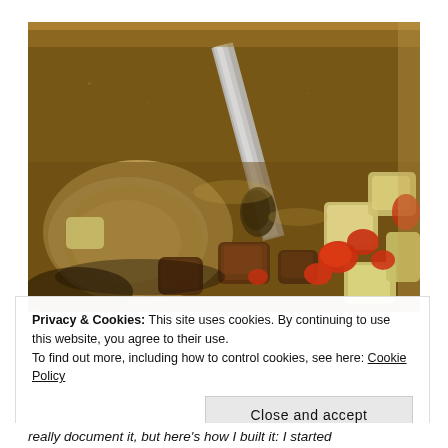[Figure (photo): Close-up photo of a stew pot with a ladle, showing chunks of meat, potatoes, and carrots in a dark brown broth]
Privacy & Cookies: This site uses cookies. By continuing to use this website, you agree to their use.
To find out more, including how to control cookies, see here: Cookie Policy
Close and accept
really document it, but here's how I built it: I started